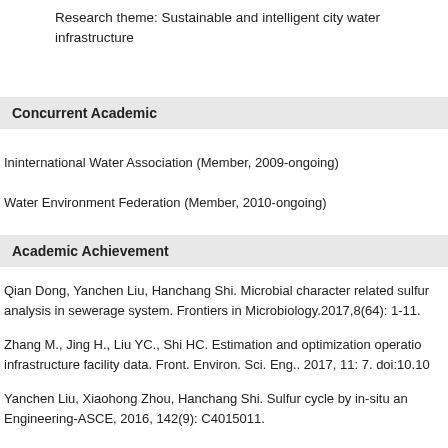Research theme: Sustainable and intelligent city water infrastructure
Concurrent Academic
Ininternational Water Association (Member, 2009-ongoing)
Water Environment Federation (Member, 2010-ongoing)
Academic Achievement
Qian Dong, Yanchen Liu, Hanchang Shi. Microbial character related sulfur analysis in sewerage system. Frontiers in Microbiology.2017,8(64): 1-11.
Zhang M., Jing H., Liu YC., Shi HC. Estimation and optimization operation infrastructure facility data. Front. Environ. Sci. Eng.. 2017, 11: 7. doi:10.10
Yanchen Liu, Xiaohong Zhou, Hanchang Shi. Sulfur cycle by in-situ an Engineering-ASCE, 2016, 142(9): C4015011.
M. Zheng, Y. C. Liu, J. Xin, H. Zuo, C.W. Wang, W.M. Wu. Ultrasonic T Process. Environmental Science and Technology. 2016, 50:864-871.
Yanchen Liu, Y.Q. Wang, H. Wu. High Performance Wastewater Tre